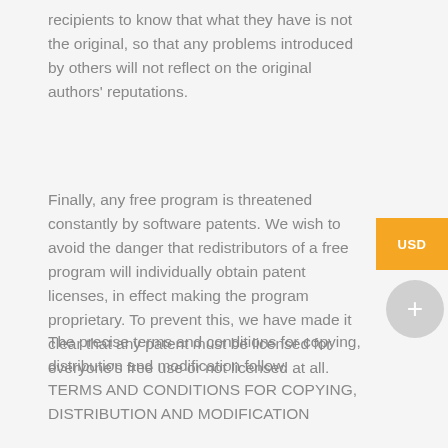recipients to know that what they have is not the original, so that any problems introduced by others will not reflect on the original authors' reputations.
Finally, any free program is threatened constantly by software patents. We wish to avoid the danger that redistributors of a free program will individually obtain patent licenses, in effect making the program proprietary. To prevent this, we have made it clear that any patent must be licensed for everyone's free use or not licensed at all.
The precise terms and conditions for copying, distribution and modification follow. TERMS AND CONDITIONS FOR COPYING, DISTRIBUTION AND MODIFICATION